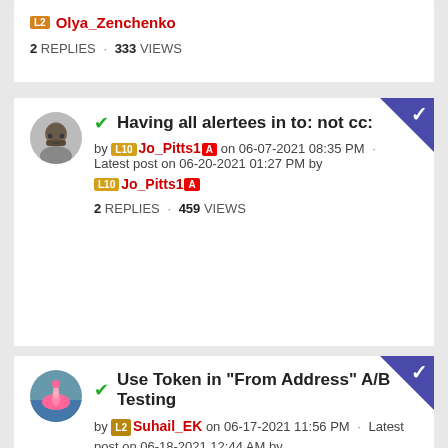L2  Olya_Zenchenko  2 REPLIES · 333 VIEWS
✔ Having all alertees in to: not cc:  by L10 Jo_Pitts1 [Adobe] on 06-07-2021 08:35 PM · Latest post on 06-20-2021 01:27 PM by L10 Jo_Pitts1 [Adobe]  2 REPLIES · 459 VIEWS
✔ Use Token in "From Address" A/B Testing  by L2 Suhail_EK on 06-17-2021 11:56 PM · Latest post on 06-18-2021 12:44 AM by MOD SanfordWhiteman  1 REPLY · 384 VIEWS